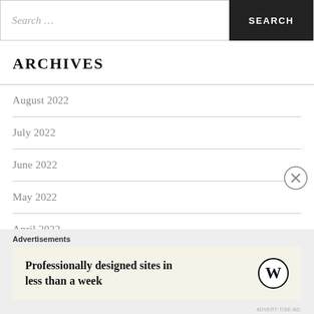Search …
ARCHIVES
August 2022
July 2022
June 2022
May 2022
April 2022
March 2022
February 2022
Advertisements
Professionally designed sites in less than a week